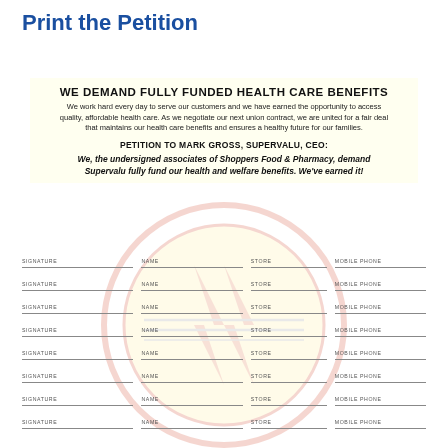Print the Petition
WE DEMAND FULLY FUNDED HEALTH CARE BENEFITS
We work hard every day to serve our customers and we have earned the opportunity to access quality, affordable health care. As we negotiate our next union contract, we are united for a fair deal that maintains our health care benefits and ensures a healthy future for our families.
PETITION TO MARK GROSS, SUPERVALU, CEO:
We, the undersigned associates of Shoppers Food & Pharmacy, demand Supervalu fully fund our health and welfare benefits. We've earned it!
| SIGNATURE | NAME | STORE | MOBILE PHONE |
| --- | --- | --- | --- |
|  |  |  |  |
|  |  |  |  |
|  |  |  |  |
|  |  |  |  |
|  |  |  |  |
|  |  |  |  |
|  |  |  |  |
|  |  |  |  |